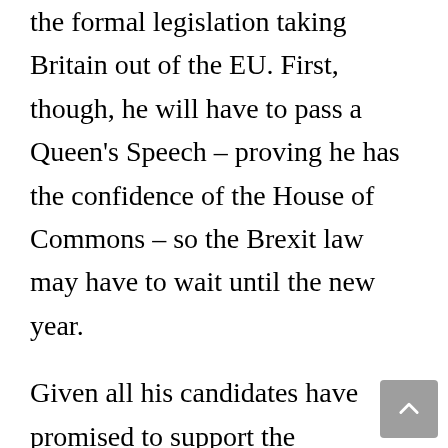the formal legislation taking Britain out of the EU. First, though, he will have to pass a Queen's Speech – proving he has the confidence of the House of Commons – so the Brexit law may have to wait until the new year.
Given all his candidates have promised to support the legislation, Johnson is unlikely to face obstacles in the Commons. Convention dictates that the unelected House of Lords refrains from blocking policies that are included in party manifestos – but Brexit has shown conventions mean sweet for little